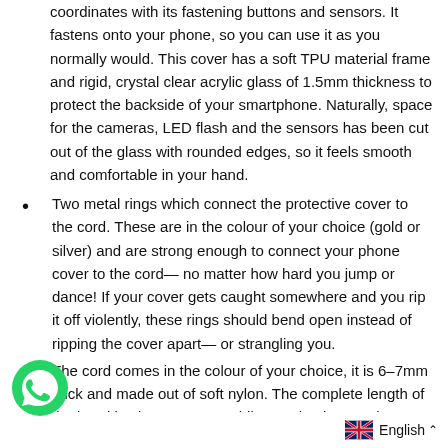coordinates with its fastening buttons and sensors. It fastens onto your phone, so you can use it as you normally would. This cover has a soft TPU material frame and rigid, crystal clear acrylic glass of 1.5mm thickness to protect the backside of your smartphone. Naturally, space for the cameras, LED flash and the sensors has been cut out of the glass with rounded edges, so it feels smooth and comfortable in your hand.
Two metal rings which connect the protective cover to the cord. These are in the colour of your choice (gold or silver) and are strong enough to connect your phone cover to the cord— no matter how hard you jump or dance! If your cover gets caught somewhere and you rip it off violently, these rings should bend open instead of ripping the cover apart— or strangling you.
The cord comes in the colour of your choice, it is 6–7mm thick and made out of soft nylon. The complete length of the band is about 150cm. While wearing it your phone should be about 74cm away from each end.
A slider connects both ends of the cord, so you can hang it securely around your neck.
English